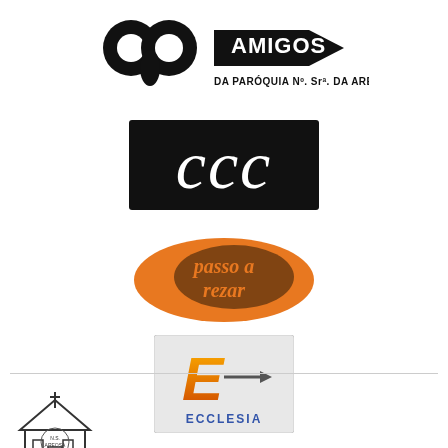[Figure (logo): Amigos da Paroquia N. Sra. da Areosa logo with musical note and arrow graphic on white background]
[Figure (logo): CCC logo in white italic script on black rectangular background]
[Figure (logo): Passo a Rezar logo in dark script on orange background, shaped like a footprint]
[Figure (logo): Ecclesia logo with stylized E and arrow on light grey/white background with blue text ECCLESIA]
[Figure (logo): N.S. Areosa parish logo with church building and cross at bottom left, partially visible]